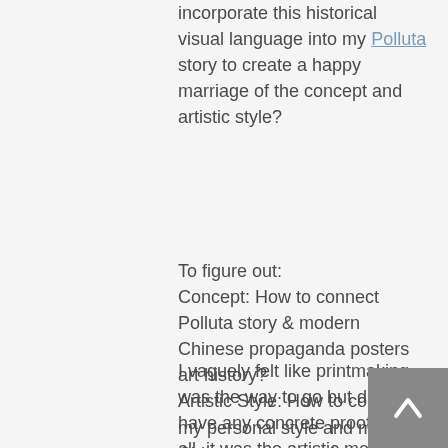incorporate this historical visual language into my Polluta story to create a happy marriage of the concept and artistic style?
To figure out:
Concept: How to connect Polluta story & modern Chinese propaganda posters art history?
Artistic Style: How to connect my personal style and modern Chinese propaganda posters' visual language?
I vaguely felt like printmaking was the way to go but didn't have any concrete proof. After all, it was the artistic medium to reproduce before the age of digital printing! At that time, my only prior printmaking experience was one